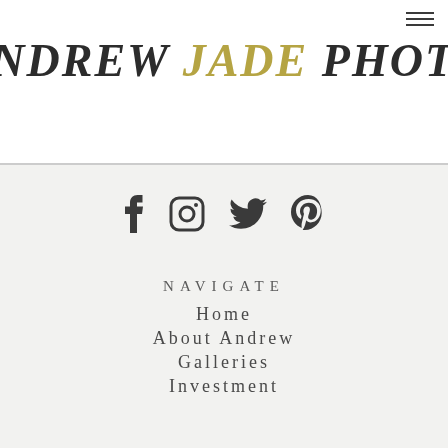[Figure (logo): Andrew Jade Photo logo — ANDREW and PHOTO in dark serif italic, JADE in gold/olive serif italic]
[Figure (infographic): Social media icons row: Facebook, Instagram, Twitter, Pinterest — dark gray on light gray background]
NAVIGATE
Home
About Andrew
Galleries
Investment